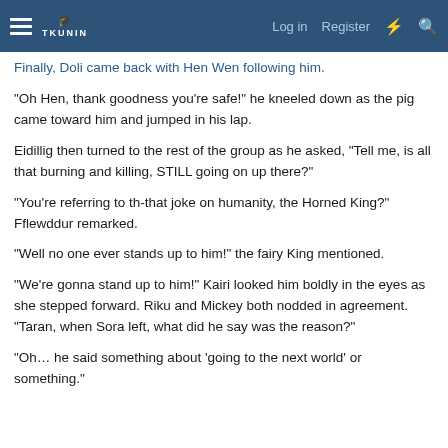Log in  Register
Finally, Doli came back with Hen Wen following him.
"Oh Hen, thank goodness you're safe!" he kneeled down as the pig came toward him and jumped in his lap.
Eidillig then turned to the rest of the group as he asked, "Tell me, is all that burning and killing, STILL going on up there?"
"You're referring to th-that joke on humanity, the Horned King?" Fflewddur remarked.
"Well no one ever stands up to him!" the fairy King mentioned.
"We're gonna stand up to him!" Kairi looked him boldly in the eyes as she stepped forward. Riku and Mickey both nodded in agreement. "Taran, when Sora left, what did he say was the reason?"
"Oh… he said something about 'going to the next world' or something."